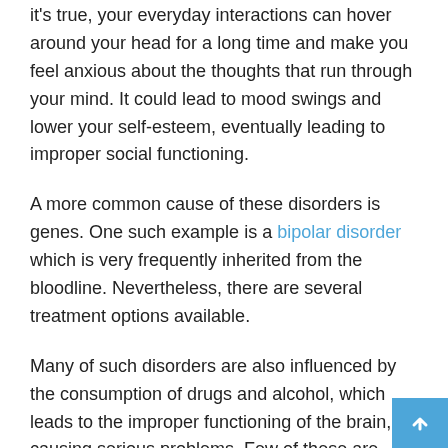it's true, your everyday interactions can hover around your head for a long time and make you feel anxious about the thoughts that run through your mind. It could lead to mood swings and lower your self-esteem, eventually leading to improper social functioning.
A more common cause of these disorders is genes. One such example is a bipolar disorder which is very frequently inherited from the bloodline. Nevertheless, there are several treatment options available.
Many of such disorders are also influenced by the consumption of drugs and alcohol, which leads to the improper functioning of the brain, causing serious problems. Few of these are caused due to some medical complications.
Yet another reason for someone's mental disorder could be an event that had a lasting impact on their memory, bringing them